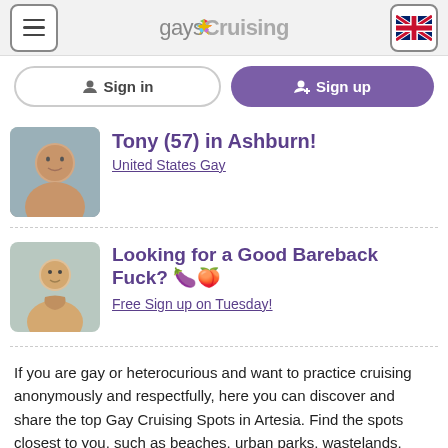gaysCruising
Sign in
Sign up
Tony (57) in Ashburn!
United States Gay
Looking for a Good Bareback Fuck? 🍆🍑
Free Sign up on Tuesday!
If you are gay or heterocurious and want to practice cruising anonymously and respectfully, here you can discover and share the top Gay Cruising Spots in Artesia. Find the spots closest to you, such as beaches, urban parks, wastelands, forests, as well as public places such as bathrooms and highway rest areas,